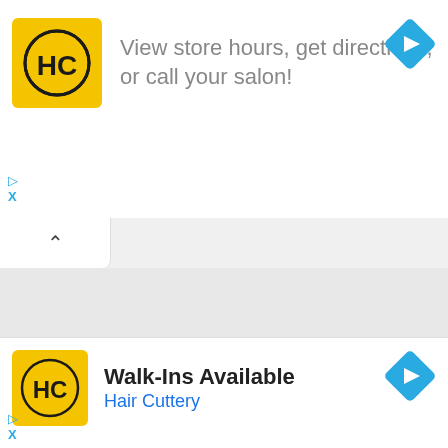[Figure (logo): Hair Cuttery HC logo on yellow background]
View store hours, get directions, or call your salon!
[Figure (illustration): Blue navigation diamond with white right-arrow]
[Figure (illustration): Play icon and X close button in blue]
[Figure (illustration): Tab bar with upward caret/chevron]
[Figure (illustration): Gray map area placeholder]
[Close]
[Figure (logo): Hair Cuttery HC logo on yellow background (bottom ad)]
Walk-Ins Available
Hair Cuttery
[Figure (illustration): Blue navigation diamond with white right-arrow (bottom)]
[Figure (illustration): Play icon and X close button in blue (bottom)]